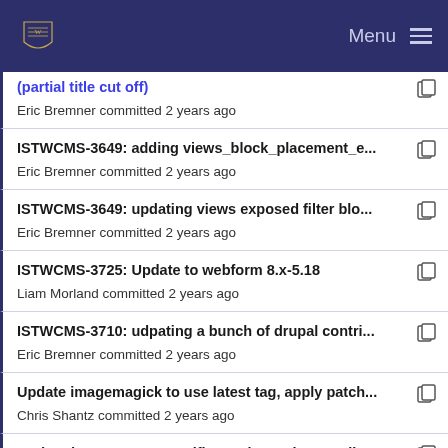Menu
ISTWCMS-3649: adding views_block_placement_e... — Eric Bremner committed 2 years ago
ISTWCMS-3649: updating views exposed filter blo... — Eric Bremner committed 2 years ago
ISTWCMS-3725: Update to webform 8.x-5.18 — Liam Morland committed 2 years ago
ISTWCMS-3710: udpating a bunch of drupal contri... — Eric Bremner committed 2 years ago
Update imagemagick to use latest tag, apply patch... — Chris Shantz committed 2 years ago
Updated tags to use specific versions when applic... — Chris Shantz committed 3 years ago
ISTWCMS-3615: Update to drupal-composer-info-r... (partial)